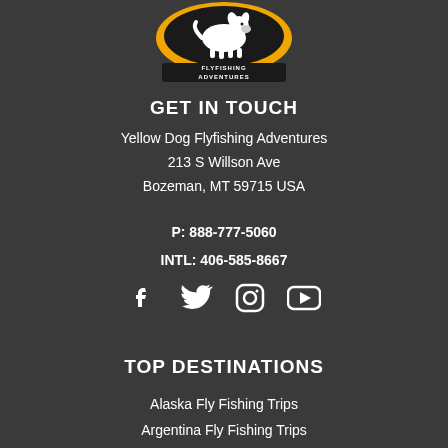[Figure (logo): Yellow Dog Flyfishing Adventures logo — black oval with white dog illustration, gold border, text 'FLYFISHING ADVENTURES' below]
GET IN TOUCH
Yellow Dog Flyfishing Adventures
213 S Willson Ave
Bozeman, MT 59715 USA
P: 888-777-5060
INTL: 406-585-8667
[Figure (infographic): Social media icons: Facebook, Twitter, Instagram, YouTube]
TOP DESTINATIONS
Alaska Fly Fishing Trips
Argentina Fly Fishing Trips
Bahamas Fly Fishing Trips